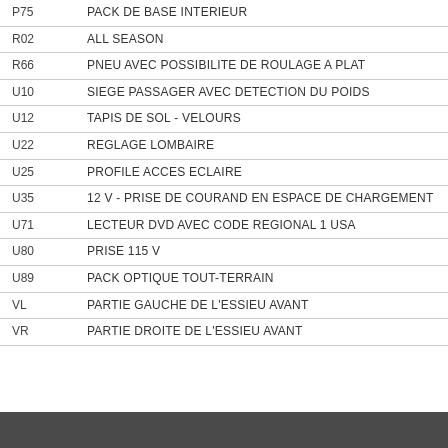| Code | Description |
| --- | --- |
| P75 | PACK DE BASE INTERIEUR |
| R02 | ALL SEASON |
| R66 | PNEU AVEC POSSIBILITE DE ROULAGE A PLAT |
| U10 | SIEGE PASSAGER AVEC DETECTION DU POIDS |
| U12 | TAPIS DE SOL - VELOURS |
| U22 | REGLAGE LOMBAIRE |
| U25 | PROFILE ACCES ECLAIRE |
| U35 | 12 V - PRISE DE COURAND EN ESPACE DE CHARGEMENT |
| U71 | LECTEUR DVD AVEC CODE REGIONAL 1 USA |
| U80 | PRISE 115 V |
| U89 | PACK OPTIQUE TOUT-TERRAIN |
| VL | PARTIE GAUCHE DE L'ESSIEU AVANT |
| VR | PARTIE DROITE DE L'ESSIEU AVANT |